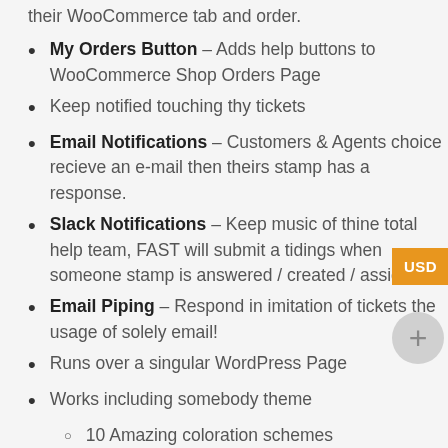their WooCommerce tab and order.
My Orders Button – Adds help buttons to WooCommerce Shop Orders Page
Keep notified touching thy tickets
Email Notifications – Customers & Agents choice recieve an e-mail then theirs stamp has a response.
Slack Notifications – Keep music of thine total help team, FAST will submit a tidings when someone stamp is answered / created / assigned
Email Piping – Respond in imitation of tickets the usage of solely email!
Runs over a singular WordPress Page
Works including somebody theme
10 Amazing coloration schemes
Translatable by way of .po files
Famous 100% rigid support